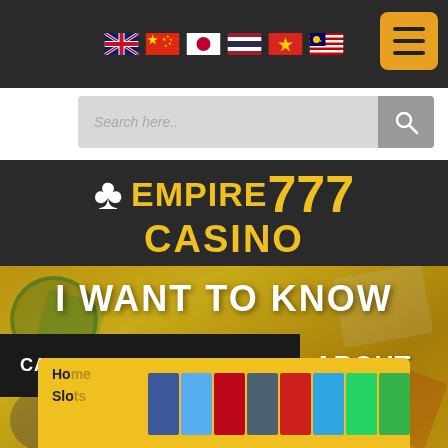[Figure (screenshot): Website header navigation bar with language flag icons (UK, China, Japan, Thailand, Vietnam, Malaysia) and hamburger menu button on dark background]
[Figure (screenshot): Search bar with placeholder text 'Search here..' and search icon button]
EMPIRE CASINO 777
[Figure (screenshot): Hero banner with casino-themed background (cards, chips, money). Contains text: 'I WANT TO KNOW', dropdown labeled 'CASINO GUIDELINES', 'ABOUT', 'EMPIRE777 CASINO']
[Figure (screenshot): Bottom yellow bar with breadcrumb 'Ho...' and 'Slo...' text, plus social media icon buttons in blue, cyan, pink, slate, red, light blue, green, and dark green]